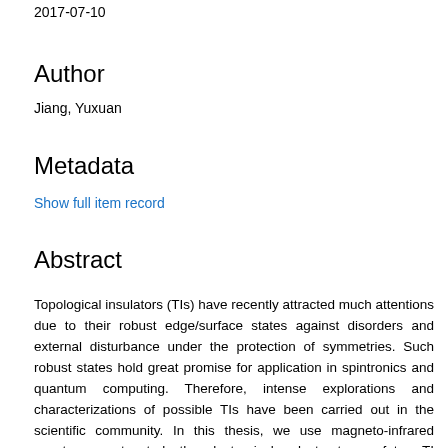2017-07-10
Author
Jiang, Yuxuan
Metadata
Show full item record
Abstract
Topological insulators (TIs) have recently attracted much attentions due to their robust edge/surface states against disorders and external disturbance under the protection of symmetries. Such robust states hold great promise for application in spintronics and quantum computing. Therefore, intense explorations and characterizations of possible TIs have been carried out in the scientific community. In this thesis, we use magneto-infrared spectroscopy to study the electronic band structures of two TI candidates. The first candidate is InAs/GaSb double quantum wells, which is a two-dimensional topological